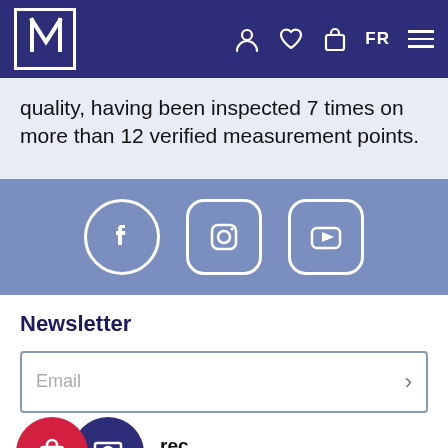N FR
quality, having been inspected 7 times on more than 12 verified measurement points.
[Figure (infographic): Social media icons for Facebook, Instagram, and YouTube on a blue-grey background]
Newsletter
Email
[Figure (infographic): Two overlapping circular buttons: red shopping bag icon and navy blue person/screen icon, with partial text and chevron dropdown]